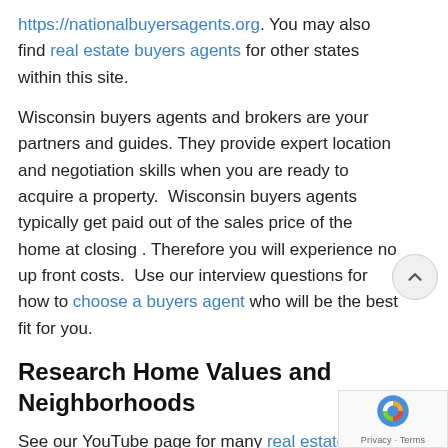https://nationalbuyersagents.org. You may also find real estate buyers agents for other states within this site.
Wisconsin buyers agents and brokers are your partners and guides. They provide expert location and negotiation skills when you are ready to acquire a property.  Wisconsin buyers agents typically get paid out of the sales price of the home at closing . Therefore you will experience no up front costs.  Use our interview questions for how to choose a buyers agent who will be the best fit for you.
Research Home Values and Neighborhoods
See our YouTube page for many real estate videos by